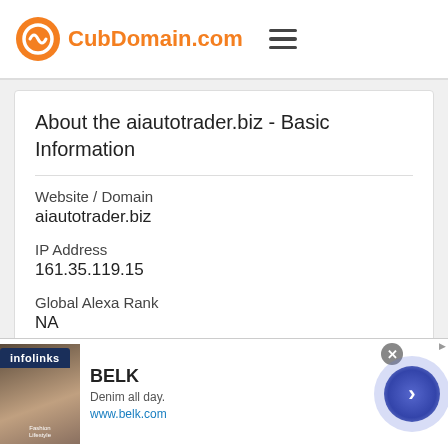CubDomain.com
About the aiautotrader.biz - Basic Information
Website / Domain
aiautotrader.biz
IP Address
161.35.119.15
Global Alexa Rank
NA
[Figure (other): Infolinks advertisement banner for BELK featuring 'Denim all day.' tagline and www.belk.com URL, with a navigation arrow button]